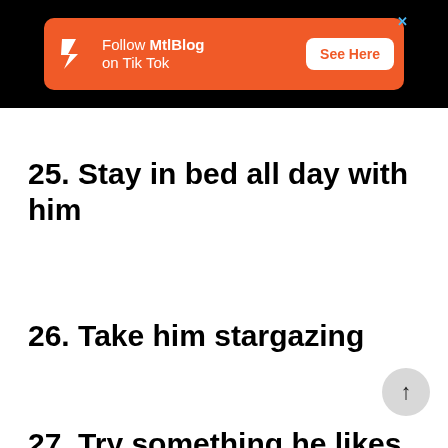[Figure (other): MtlBlog TikTok advertisement banner on black background. Orange rounded rectangle with MtlBlog logo (zigzag/lightning bolt), text 'Follow MtlBlog on Tik Tok', and white 'See Here' button. Blue X close icon in top-right.]
25. Stay in bed all day with him
26. Take him stargazing
27. Try something he likes that